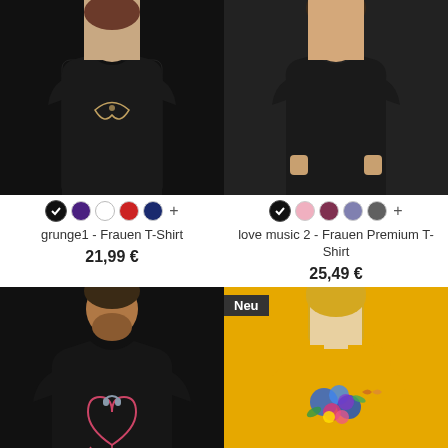[Figure (photo): Woman wearing black T-shirt with decorative print, product image for grunge1 Frauen T-Shirt]
grunge1 - Frauen T-Shirt
21,99 €
[Figure (photo): Woman wearing black T-shirt (love music 2), product image for Frauen Premium T-Shirt]
love music 2 - Frauen Premium T-Shirt
25,49 €
[Figure (photo): Man wearing black T-shirt with heart headphones print, product image for love music 2 Männer T-Shirt]
love music 2 - Männer T-Shirt
21,99 €
[Figure (photo): Woman wearing yellow T-shirt with flower print, product image for flower1 Frauen Premium T-Shirt. Badge: Neu]
flower1 - Frauen Premium T-Shirt